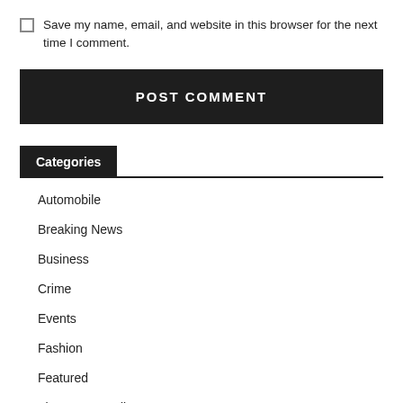Save my name, email, and website in this browser for the next time I comment.
POST COMMENT
Categories
Automobile
Breaking News
Business
Crime
Events
Fashion
Featured
Finance & Trading